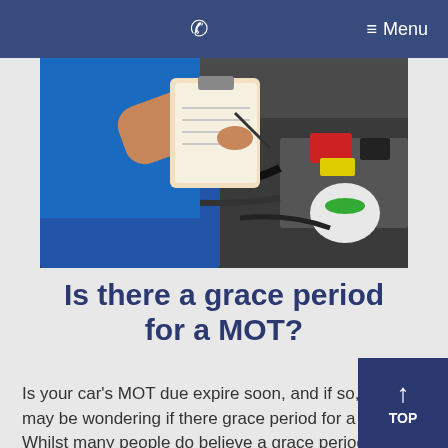☎  ≡ Menu
[Figure (photo): A mechanic in a blue shirt holding a clipboard inspecting a car engine bay, with battery and other components visible.]
Is there a grace period for a MOT?
Is your car's MOT due expire soon, and if so, you may be wondering if there grace period for a mot? Whilst many people do believe a grace period ex regarding MOTs, that's sadly...